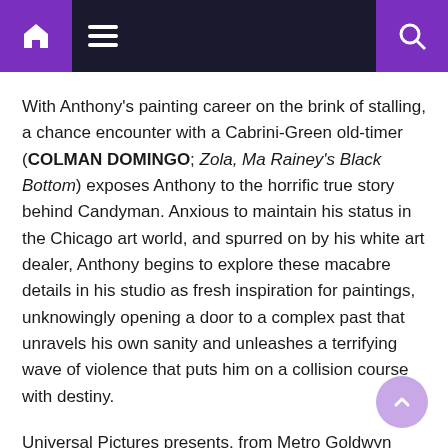[Navigation bar with home icon, menu icon, and search icon]
With Anthony's painting career on the brink of stalling, a chance encounter with a Cabrini-Green old-timer (COLMAN DOMINGO; Zola, Ma Rainey's Black Bottom) exposes Anthony to the horrific true story behind Candyman. Anxious to maintain his status in the Chicago art world, and spurred on by his white art dealer, Anthony begins to explore these macabre details in his studio as fresh inspiration for paintings, unknowingly opening a door to a complex past that unravels his own sanity and unleashes a terrifying wave of violence that puts him on a collision course with destiny.
Universal Pictures presents, from Metro Goldwyn Mayer Pictures and Jordan Peele and Win Rosenfeld's Monkeypaw Productions, in association with BRON